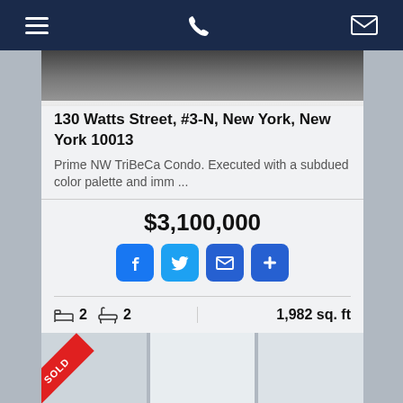Navigation bar with menu, phone, and email icons
[Figure (photo): Interior photo strip of a condo]
130 Watts Street, #3-N, New York, New York 10013
Prime NW TriBeCa Condo. Executed with a subdued color palette and imm ...
$3,100,000
[Figure (infographic): Social share buttons: Facebook, Twitter, Email, Plus]
2 beds  2 baths  1,982 sq. ft
[Figure (photo): Bottom thumbnail photos of the condo, first showing SOLD ribbon]